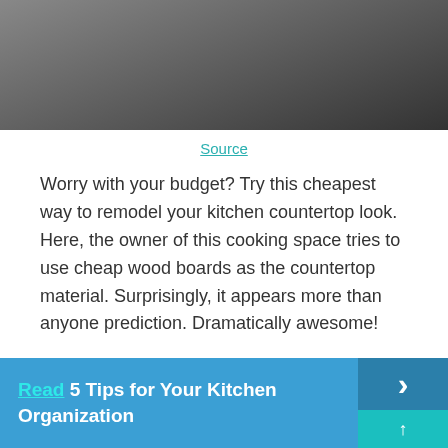[Figure (photo): Kitchen interior photos showing countertop and cabinets, split into two panel views]
Source
Worry with your budget? Try this cheapest way to remodel your kitchen countertop look. Here, the owner of this cooking space tries to use cheap wood boards as the countertop material. Surprisingly, it appears more than anyone prediction. Dramatically awesome!
Read 5 Tips for Your Kitchen Organization